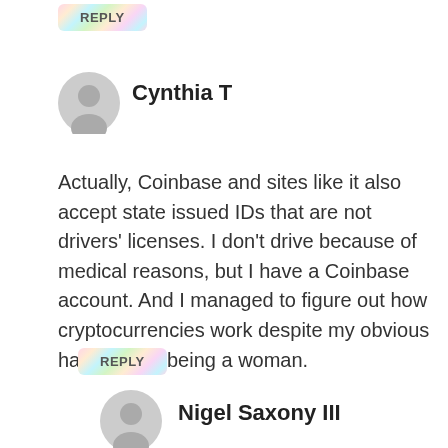[Figure (other): REPLY button with holographic/rainbow gradient background]
[Figure (other): Gray user avatar icon (silhouette of person) for Cynthia T]
Cynthia T
Actually, Coinbase and sites like it also accept state issued IDs that are not drivers' licenses. I don't drive because of medical reasons, but I have a Coinbase account. And I managed to figure out how cryptocurrencies work despite my obvious handicap of being a woman.
[Figure (other): REPLY button with holographic/rainbow gradient background]
[Figure (other): Gray user avatar icon (silhouette of person) for Nigel Saxony III]
Nigel Saxony III